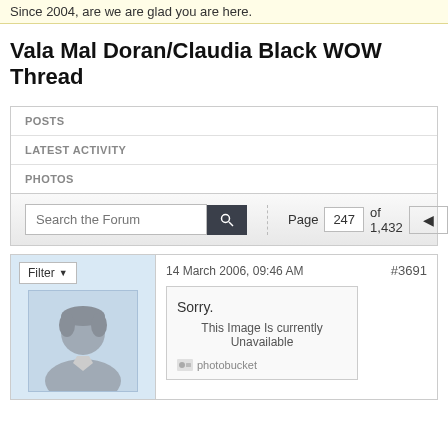Since 2004, are we are glad you are here.
Vala Mal Doran/Claudia Black WOW Thread
POSTS
LATEST ACTIVITY
PHOTOS
Search the Forum | Page 247 of 1,432
Filter
14 March 2006, 09:46 AM
#3691
Sorry.
This Image Is currently Unavailable
photobucket